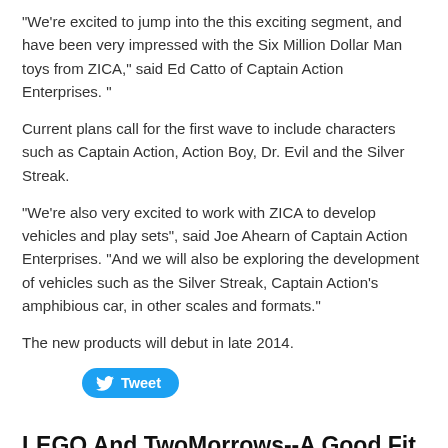“We’re excited to jump into the this exciting segment, and have been very impressed with the Six Million Dollar Man toys from ZICA,” said Ed Catto of Captain Action Enterprises. “”
Current plans call for the first wave to include characters such as Captain Action, Action Boy, Dr. Evil and the Silver Streak.
“We’re also very excited to work with ZICA to develop vehicles and play sets”, said Joe Ahearn of Captain Action Enterprises. “And we will also be exploring the development of vehicles such as the Silver Streak, Captain Action’s amphibious car, in other scales and formats.”
The new products will debut in late 2014.
[Figure (other): Tweet button in blue with Twitter bird icon]
LEGO And TwoMorrows--A Good Fit
3/17/2014
[Figure (photo): Magazine cover for LEGO enthusiasts, blue header reading The Magazine for LEGO Enthusiasts of All Ages!, with LEGO brick imagery and red/white design elements]